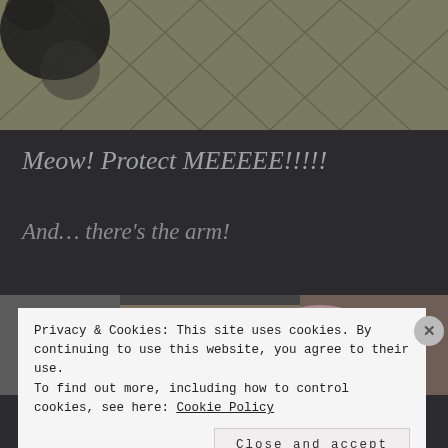[Figure (photo): Top portion showing a cat partly visible and a patterned fabric/pillow with diamond/grid pattern in muted green-tan tones]
Meow! Protect MEEEEE!!!!!
And… there's the arm!
[Figure (photo): Bottom photo strip showing a person's arm and clothing, partially obscured by cookie consent banner]
Privacy & Cookies: This site uses cookies. By continuing to use this website, you agree to their use.
To find out more, including how to control cookies, see here: Cookie Policy
Close and accept